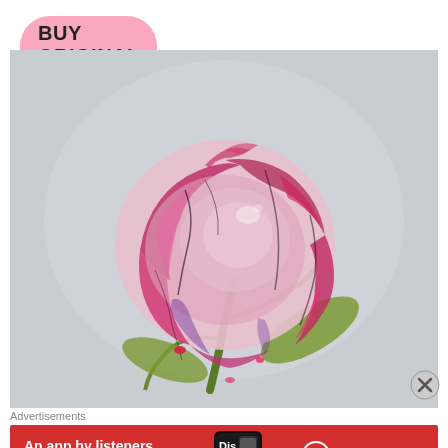BUY ORIGINAL PAINTING NOW
[Figure (illustration): Watercolor or alcohol ink painting of a pink and magenta rose bud with green stem and leaves on a light grey background]
[Figure (other): Close (X) button circle icon]
Advertisements
[Figure (other): Pocket Casts advertisement banner: 'An app by listeners, for listeners.' with a phone showing Distributed podcast app and Pocket Casts logo on red background]